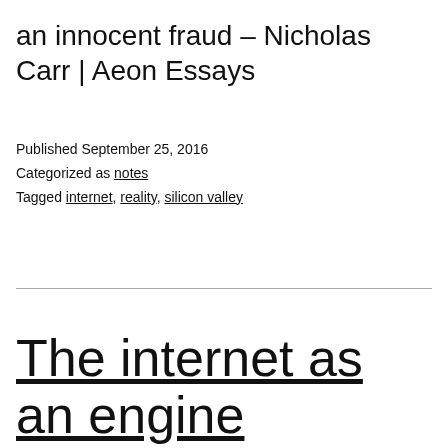an innocent fraud – Nicholas Carr | Aeon Essays
Published September 25, 2016
Categorized as notes
Tagged internet, reality, silicon valley
The internet as an engine of liberation is an